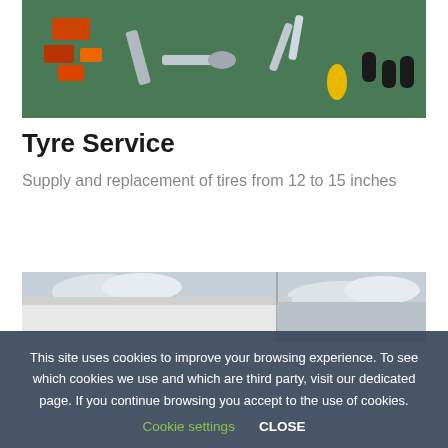[Figure (photo): Various trailer parts and accessories laid out on a green surface, including lights, hitches, wheels, rollers and other components]
Tyre Service
Supply and replacement of tires from 12 to 15 inches
[Figure (photo): Partial view of a white trailer or caravan exterior against a cloudy sky]
This site uses cookies to improve your browsing experience. To see which cookies we use and which are third party, visit our dedicated page. If you continue browsing you accept to the use of cookies. Cookie settings CLOSE